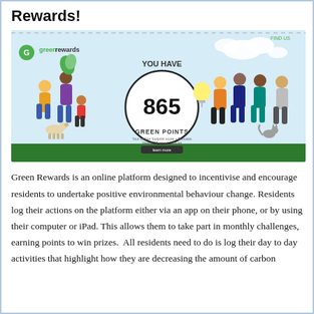Rewards!
[Figure (screenshot): Screenshot of the Green Rewards online platform showing a group of illustrated people and the text 'YOU HAVE 865 GREEN POINTS' in a circle, with the Green Rewards logo in the top-left.]
Green Rewards is an online platform designed to incentivise and encourage residents to undertake positive environmental behaviour change. Residents log their actions on the platform either via an app on their phone, or by using their computer or iPad. This allows them to take part in monthly challenges, earning points to win prizes.  All residents need to do is log their day to day activities that highlight how they are decreasing the amount of carbon